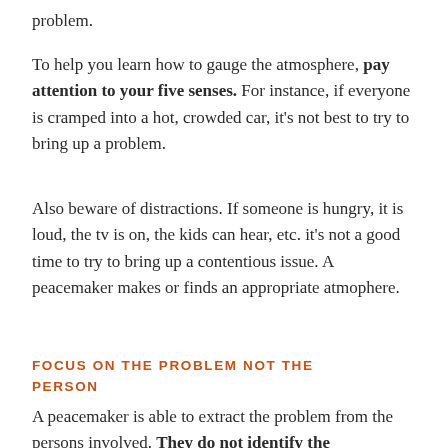problem.
To help you learn how to gauge the atmosphere, pay attention to your five senses. For instance, if everyone is cramped into a hot, crowded car, it's not best to try to bring up a problem.
Also beware of distractions. If someone is hungry, it is loud, the tv is on, the kids can hear, etc. it's not a good time to try to bring up a contentious issue. A peacemaker makes or finds an appropriate atmophere.
FOCUS ON THE PROBLEM NOT THE PERSON
A peacemaker is able to extract the problem from the persons involved. They do not identify the